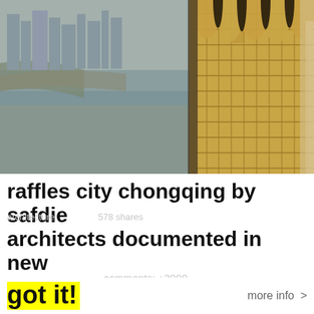[Figure (photo): Aerial/elevated photograph of Raffles City Chongqing — left side shows cityscape with river (Yangtze), right side shows close-up of the building's golden/amber facade with distinctive curved roof fins and grid-window facade.]
raffles city chongqing by safdie architects documented in new
LASCIATE OGNI SPERANZA O VOI CHE ENTRATE
(divine comedy, dante alighieri)
we use cookies to make your reading a better experience.
got it!
more info >